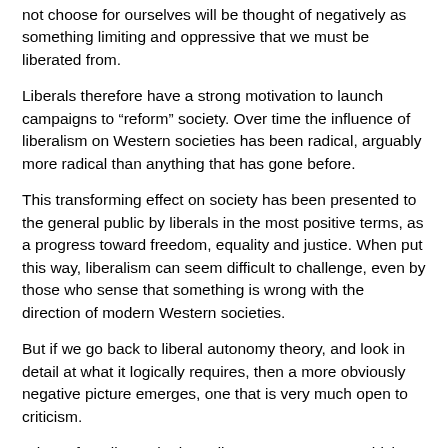not choose for ourselves will be thought of negatively as something limiting and oppressive that we must be liberated from.
Liberals therefore have a strong motivation to launch campaigns to “reform” society. Over time the influence of liberalism on Western societies has been radical, arguably more radical than anything that has gone before.
This transforming effect on society has been presented to the general public by liberals in the most positive terms, as a progress toward freedom, equality and justice. When put this way, liberalism can seem difficult to challenge, even by those who sense that something is wrong with the direction of modern Western societies.
But if we go back to liberal autonomy theory, and look in detail at what it logically requires, then a more obviously negative picture emerges, one that is very much open to criticism.
What, after all, are the impediments to autonomy which